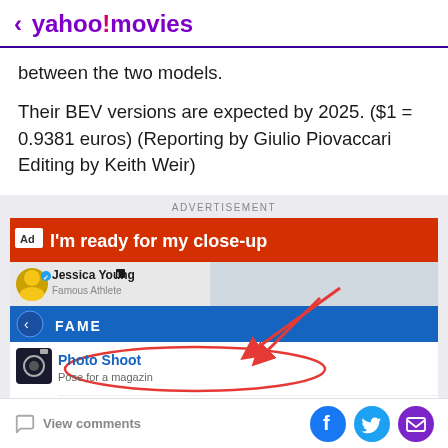< yahoo!movies
between the two models.
Their BEV versions are expected by 2025. ($1 = 0.9381 euros) (Reporting by Giulio Piovaccari Editing by Keith Weir)
[Figure (screenshot): Advertisement screenshot showing a mobile game ad for BitLife with header 'I'm ready for my close-up', showing Jessica Young Famous Athlete profile, FAME menu with Photo Shoot and Talk Show options, and BitLife logo.]
View comments